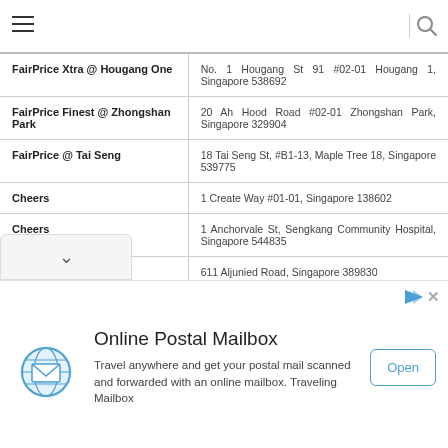Navigation bar with hamburger menu and search icon
| Store Name | Address |
| --- | --- |
| FairPrice Xtra @ Hougang One | No. 1 Hougang St 91 #02-01 Hougang 1, Singapore 538692 |
| FairPrice Finest @ Zhongshan Park | 20 Ah Hood Road #02-01 Zhongshan Park, Singapore 329904 |
| FairPrice @ Tai Seng | 18 Tai Seng St, #B1-13, Maple Tree 18, Singapore 539775 |
| Cheers | 1 Create Way #01-01, Singapore 138602 |
| Cheers | 1 Anchorvale St, Sengkang Community Hospital, Singapore 544835 |
| Cheers | 611 Aljunied Road, Singapore 389830 |
| FairPrice Xpress | 384 Lorong Chuan, Singapore 556910 |
[Figure (other): Advertisement banner for Online Postal Mailbox service by Traveling Mailbox. Features a globe/mailbox icon, title 'Online Postal Mailbox', description text about traveling and postal mail scanning, and an 'Open' button.]